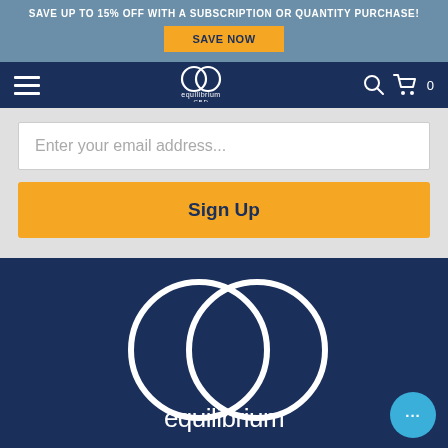SAVE UP TO 15% OFF WITH A SUBSCRIPTION OR QUANTITY PURCHASE!
SAVE NOW
[Figure (logo): Equilibrium CBD logo - two overlapping circles in white with text 'equilibrium CBD' below, on dark navy background, in navigation bar]
Enter your email address...
Sign Up
[Figure (logo): Large Equilibrium CBD logo - two large overlapping white circles on dark navy blue background with text 'equilibrium' and partial 'CBD' below, with a chat bubble icon in lower right]